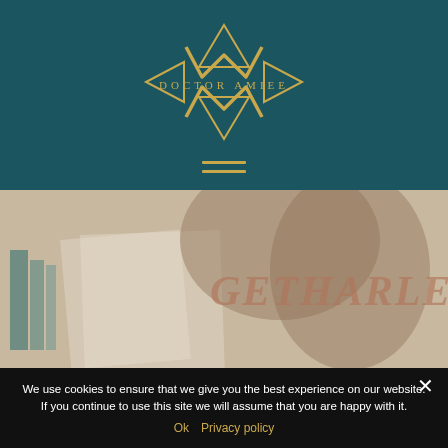[Figure (logo): Doctor Amiee logo — stylized overlapping A and M letterform in gold on teal background with text 'DOCTOR AMIEE']
[Figure (photo): Background photo of a person holding a document that reads 'GETHARLE' (partial text visible), with books on the left; soft warm tones]
We use cookies to ensure that we give you the best experience on our website. If you continue to use this site we will assume that you are happy with it.
Ok  Privacy policy